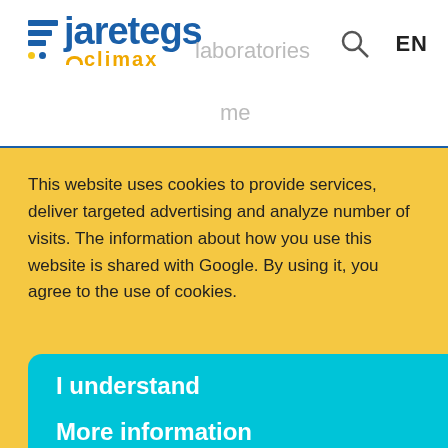[Figure (logo): Jaretegs climax logo with blue horizontal bars icon and yellow climax text]
This website uses cookies to provide services, deliver targeted advertising and analyze number of visits. The information about how you use this website is shared with Google. By using it, you agree to the use of cookies.
I understand
More information